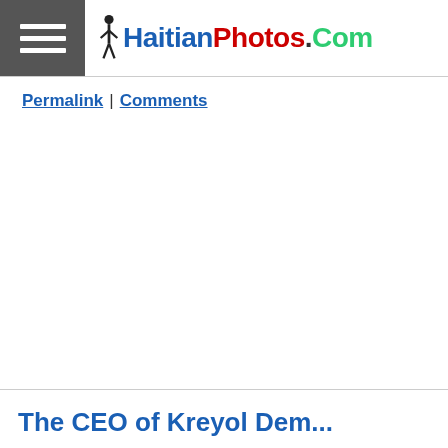HaitianPhotos.Com
Permalink | Comments
The CEO of Kreyol Denim...